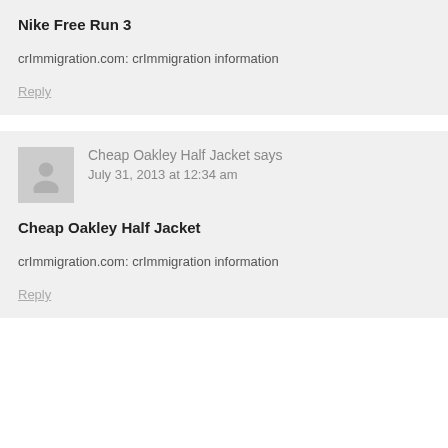Nike Free Run 3
crImmigration.com: crImmigration information
Reply
Cheap Oakley Half Jacket says
July 31, 2013 at 12:34 am
Cheap Oakley Half Jacket
crImmigration.com: crImmigration information
Reply